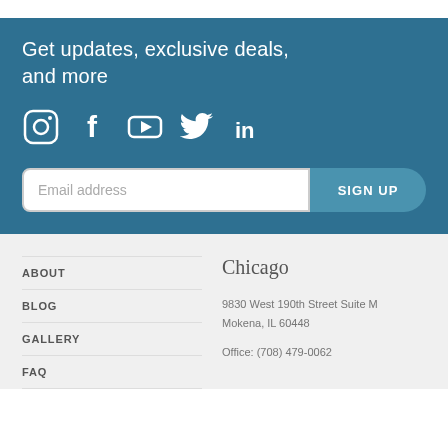Get updates, exclusive deals, and more
[Figure (infographic): Social media icons: Instagram, Facebook, YouTube, Twitter, LinkedIn]
Email address
SIGN UP
ABOUT
BLOG
GALLERY
FAQ
Chicago
9830 West 190th Street Suite M
Mokena, IL 60448
Office: (708) 479-0062